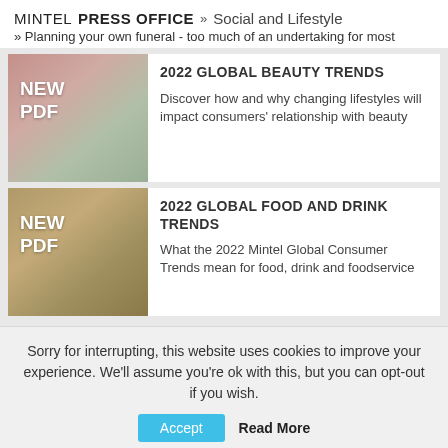MINTEL PRESS OFFICE » Social and Lifestyle » Planning your own funeral - too much of an undertaking for most
[Figure (screenshot): Card with beauty trend report image showing NEW PDF badge overlay on pinkish lifestyle photo]
2022 GLOBAL BEAUTY TRENDS
Discover how and why changing lifestyles will impact consumers' relationship with beauty
[Figure (screenshot): Card with food and drink trend report image showing NEW PDF badge overlay on warm-toned food/family photo]
2022 GLOBAL FOOD AND DRINK TRENDS
What the 2022 Mintel Global Consumer Trends mean for food, drink and foodservice
Sorry for interrupting, this website uses cookies to improve your experience. We'll assume you're ok with this, but you can opt-out if you wish. Accept Read More